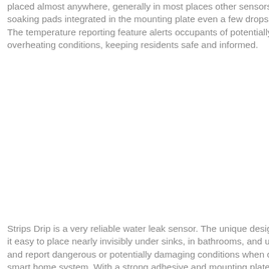placed almost anywhere, generally in most places other sensors simply can't fit. With soaking pads integrated in the mounting plate even a few drops of water will be detected. The temperature reporting feature alerts occupants of potentially dangerous freezing or overheating conditions, keeping residents safe and informed.
Strips Drip is a very reliable water leak sensor. The unique design and mounting plate make it easy to place nearly invisibly under sinks, in bathrooms, and under appliances to sense and report dangerous or potentially damaging conditions when connected to your Z-Wave smart home system. With a strong adhesive and mounting plate that can be screwed down, Strips Drip can be adhered securely to any surface to ensure permanent placement. Sensitivity is also adjustable and can be set per user preferences.
700 Series Drip can be used both indoors and out and the integrated custom battery gives Strips an expected lifetime of 10+ years. For